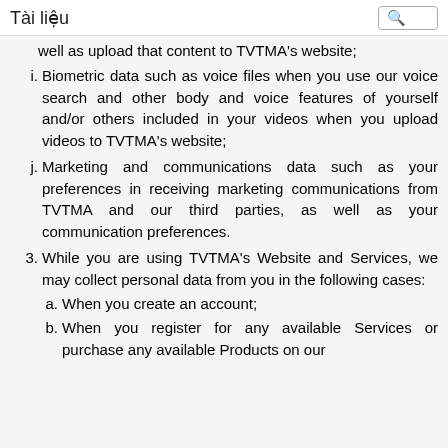Tài liệu
well as upload that content to TVTMA's website;
i. Biometric data such as voice files when you use our voice search and other body and voice features of yourself and/or others included in your videos when you upload videos to TVTMA's website;
j. Marketing and communications data such as your preferences in receiving marketing communications from TVTMA and our third parties, as well as your communication preferences.
3. While you are using TVTMA's Website and Services, we may collect personal data from you in the following cases:
a. When you create an account;
b. When you register for any available Services or purchase any available Products on our